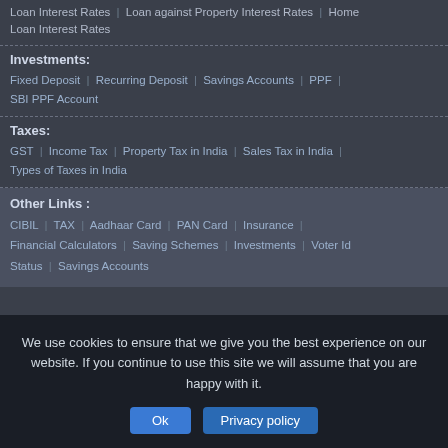Loan Interest Rates | Loan against Property Interest Rates | Home Loan Interest Rates
Investments:
Fixed Deposit | Recurring Deposit | Savings Accounts | PPF | SBI PPF Account
Taxes:
GST | Income Tax | Property Tax in India | Sales Tax in India | Types of Taxes in India
Other Links :
CIBIL | TAX | Aadhaar Card | PAN Card | Insurance | Financial Calculators | Saving Schemes | Investments | Voter Id Status | Savings Accounts
We use cookies to ensure that we give you the best experience on our website. If you continue to use this site we will assume that you are happy with it.